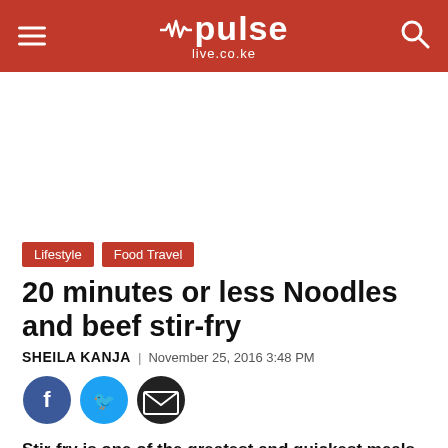pulse live.co.ke
[Figure (other): Advertisement / blank white space area]
Lifestyle
Food Travel
20 minutes or less Noodles and beef stir-fry
SHEILA KANJA | November 25, 2016 3:48 PM
[Figure (other): Social share buttons: Facebook, Twitter, Email]
Stir-fry is one of the greatest and quickest meals